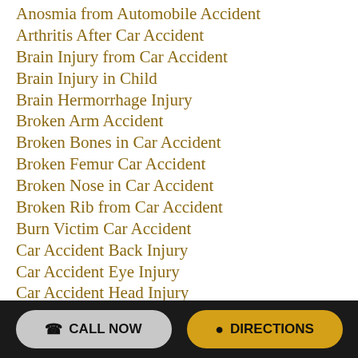Anosmia from Automobile Accident
Arthritis After Car Accident
Brain Injury from Car Accident
Brain Injury in Child
Brain Hermorrhage Injury
Broken Arm Accident
Broken Bones in Car Accident
Broken Femur Car Accident
Broken Nose in Car Accident
Broken Rib from Car Accident
Burn Victim Car Accident
Car Accident Back Injury
Car Accident Eye Injury
Car Accident Head Injury
Car Accident Nerve Damage
Car Accident Paralysis
Car Accident Spine Injury
Car Accident Wrist Injury
Catastrophic Injury
CALL NOW   DIRECTIONS